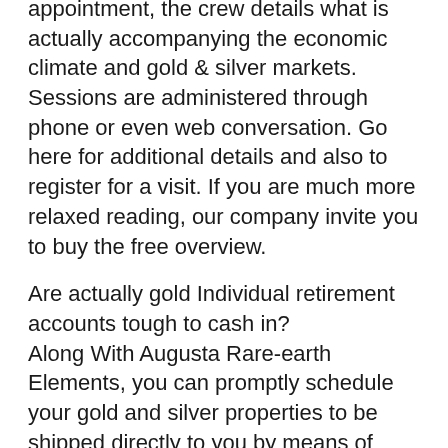appointment, the crew details what is actually accompanying the economic climate and gold & silver markets. Sessions are administered through phone or even web conversation. Go here for additional details and also to register for a visit. If you are much more relaxed reading, our company invite you to buy the free overview.
Are actually gold Individual retirement accounts tough to cash in? Along With Augusta Rare-earth Elements, you can promptly schedule your gold and silver properties to be shipped directly to you by means of your custodian, or you can easily have the metals taken out on your behalf, and also the funds will definitely be